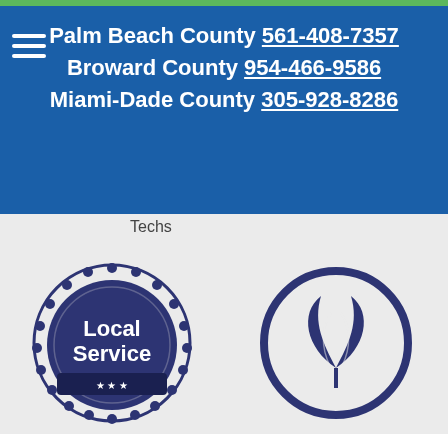Palm Beach County 561-408-7357
Broward County 954-466-9586
Miami-Dade County 305-928-8286
Techs
[Figure (logo): Badge-style circular seal logo with gear/wreath border and text 'Local Service' with stars]
15 Years Local Service
[Figure (logo): Circular eco logo with two leaves inside a circle]
Green & Eco Friendly